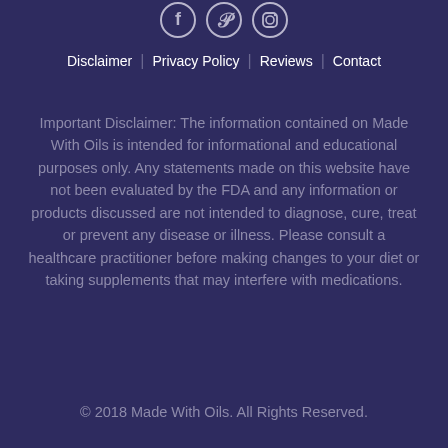[Figure (other): Social media icons: Facebook, Pinterest, Instagram — white circle-bordered icons on dark purple background]
Disclaimer    Privacy Policy    Reviews    Contact
Important Disclaimer: The information contained on Made With Oils is intended for informational and educational purposes only. Any statements made on this website have not been evaluated by the FDA and any information or products discussed are not intended to diagnose, cure, treat or prevent any disease or illness. Please consult a healthcare practitioner before making changes to your diet or taking supplements that may interfere with medications.
© 2018 Made With Oils. All Rights Reserved.